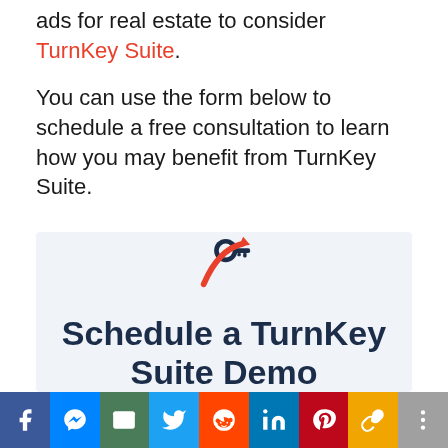ads for real estate to consider TurnKey Suite.
You can use the form below to schedule a free consultation to learn how you may benefit from TurnKey Suite.
[Figure (logo): TurnKey Suite logo: a dark navy key icon with an orange/red upward arrow swooping around it]
Schedule a TurnKey Suite Demo
Facebook | Messenger | Email | Twitter | Reddit | LinkedIn | Pinterest | Share | More